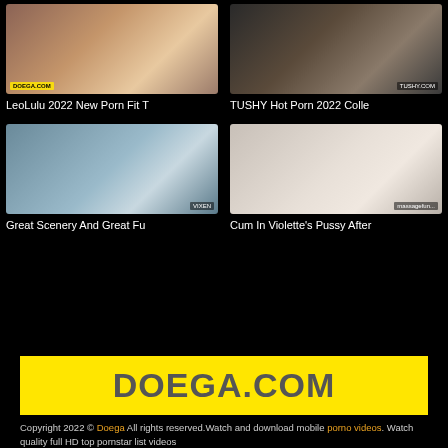[Figure (photo): Thumbnail for LeoLulu 2022 New Porn Fit T with DOEGA.COM watermark]
LeoLulu 2022 New Porn Fit T
[Figure (photo): Thumbnail for TUSHY Hot Porn 2022 Colle with TUSHY.COM watermark]
TUSHY Hot Porn 2022 Colle
[Figure (photo): Thumbnail for Great Scenery And Great Fu with VIXEN watermark]
Great Scenery And Great Fu
[Figure (photo): Thumbnail for Cum In Violette's Pussy After with massagefun watermark]
Cum In Violette’s Pussy After
[Figure (logo): DOEGA.COM logo on yellow background]
Copyright 2022 © Doega All rights reserved.Watch and download mobile porno videos. Watch quality full HD top pornstar list videos